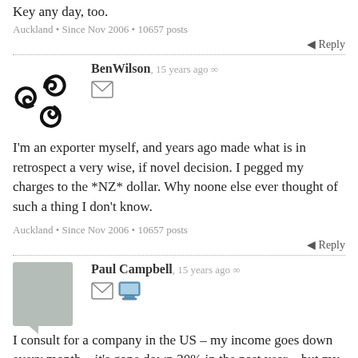Key any day, too.
Auckland • Since Nov 2006 • 10657 posts
Reply
BenWilson, 15 years ago ∞
I'm an exporter myself, and years ago made what is in retrospect a very wise, if novel decision. I pegged my charges to the *NZ* dollar. Why noone else ever thought of such a thing I don't know.
Auckland • Since Nov 2006 • 10657 posts
Reply
Paul Campbell, 15 years ago ∞
I consult for a company in the US – my income goes down every month – it's gone down 20% in the past year – but my mortgage goes up … can't win. I've bitched about that here before, but it's life I know I have to live with it.